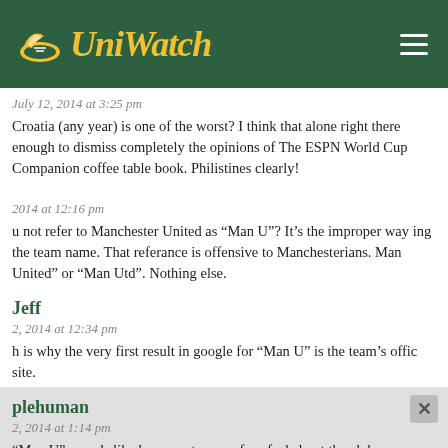UniWatch
July 12, 2014 at 3:25 pm
Croatia (any year) is one of the worst? I think that alone right there enough to dismiss completely the opinions of The ESPN World Cup Companion coffee table book. Philistines clearly!
2014 at 12:16 pm
u not refer to Manchester United as “Man U”? It’s the improper way ing the team name. That referance is offensive to Manchesterians. Man United” or “Man Utd”. Nothing else.
Jeff
2, 2014 at 12:34 pm
h is why the very first result in google for “Man U” is the team’s offic site.
plehuman
2, 2014 at 1:14 pm
“Man U” sounds like how most soccer fans feel about the club